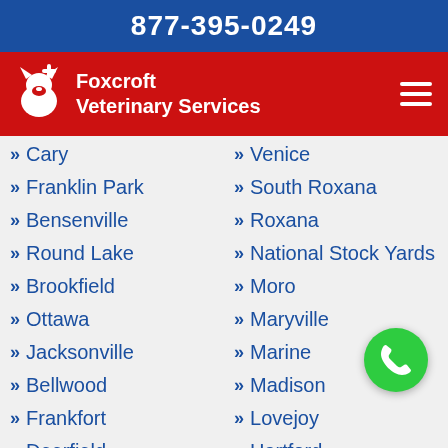877-395-0249
[Figure (logo): Foxcroft Veterinary Services logo with red background, white dog/cat icon and plus sign, white text reading Foxcroft Veterinary Services, hamburger menu icon on right]
Cary
Venice
Franklin Park
South Roxana
Bensenville
Roxana
Round Lake
National Stock Yards
Brookfield
Moro
Ottawa
Maryville
Jacksonville
Marine
Bellwood
Madison
Frankfort
Lovejoy
Deerfield
Hartford
Alsip
Hamel
Homewood
East Alton
Lake Forest
Cottage Hills